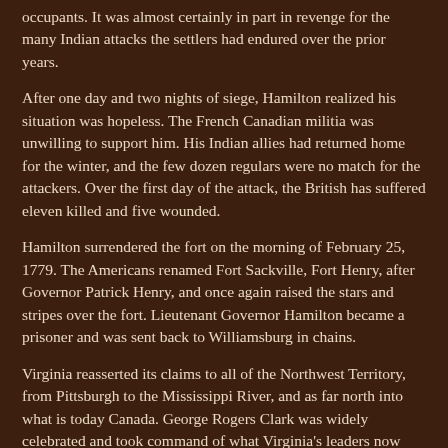occupants. It was almost certainly in part in revenge for the many Indian attacks the settlers had endured over the prior years.
After one day and two nights of siege, Hamilton realized his situation was hopeless. The French Canadian militia was unwilling to support him. His Indian allies had returned home for the winter, and the few dozen regulars were no match for the attackers. Over the first day of the attack, the British has suffered eleven killed and five wounded.
Hamilton surrendered the fort on the morning of February 25, 1779. The Americans renamed Fort Sackville, Fort Henry, after Governor Patrick Henry, and once again raised the stars and stripes over the fort. Lieutenant Governor Hamilton became a prisoner and was sent back to Williamsburg in chains.
Virginia reasserted its claims to all of the Northwest Territory, from Pittsburgh to the Mississippi River, and as far north into what is today Canada. George Rogers Clark was widely celebrated and took command of what Virginia's leaders now called Illinois County, Virginia.